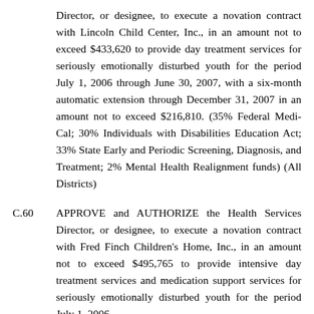Director, or designee, to execute a novation contract with Lincoln Child Center, Inc., in an amount not to exceed $433,620 to provide day treatment services for seriously emotionally disturbed youth for the period July 1, 2006 through June 30, 2007, with a six-month automatic extension through December 31, 2007 in an amount not to exceed $216,810. (35% Federal Medi-Cal; 30% Individuals with Disabilities Education Act; 33% State Early and Periodic Screening, Diagnosis, and Treatment; 2% Mental Health Realignment funds) (All Districts)
C.60  APPROVE and AUTHORIZE the Health Services Director, or designee, to execute a novation contract with Fred Finch Children's Home, Inc., in an amount not to exceed $495,765 to provide intensive day treatment services and medication support services for seriously emotionally disturbed youth for the period July 1, 2006...